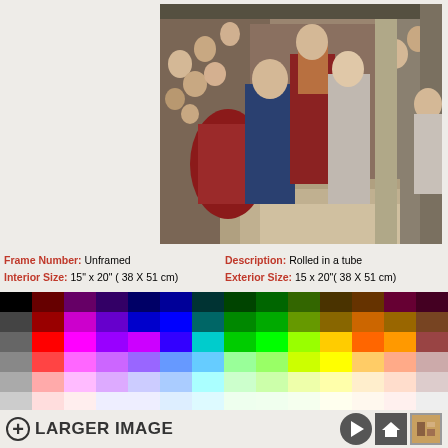[Figure (photo): A Renaissance-style painting showing a religious ceremony with multiple figures in ornate robes inside a church or cathedral. The scene depicts what appears to be a baptism or sacramental rite with clergy and attendees in period costume.]
Frame Number: Unframed   Description: Rolled in a tube
Interior Size: 15" x 20" ( 38 X 51 cm)   Exterior Size: 15 x 20"( 38 X 51 cm)
[Figure (infographic): A color swatch palette grid showing approximately 6 rows and 14+ columns of color swatches ranging from black, dark colors through bright primaries and pastels to white.]
LARGER IMAGE